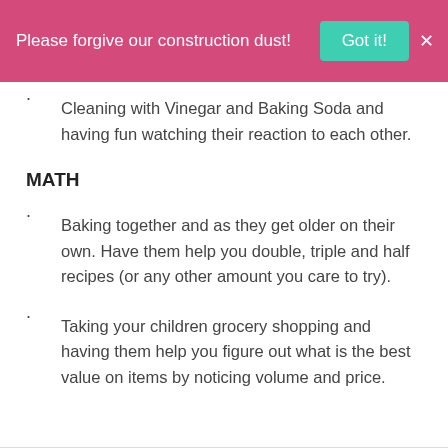Please forgive our construction dust! Got it! X
· Cleaning with Vinegar and Baking Soda and having fun watching their reaction to each other.
MATH
· Baking together and as they get older on their own. Have them help you double, triple and half recipes (or any other amount you care to try).
· Taking your children grocery shopping and having them help you figure out what is the best value on items by noticing volume and price.